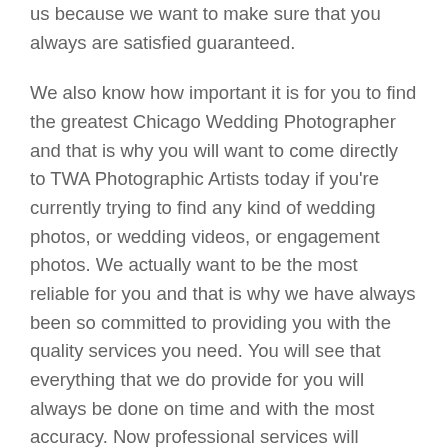us because we want to make sure that you always are satisfied guaranteed.
We also know how important it is for you to find the greatest Chicago Wedding Photographer and that is why you will want to come directly to TWA Photographic Artists today if you're currently trying to find any kind of wedding photos, or wedding videos, or engagement photos. We actually want to be the most reliable for you and that is why we have always been so committed to providing you with the quality services you need. You will see that everything that we do provide for you will always be done on time and with the most accuracy. Now professional services will always be our top priority and that is why we actually have always been so committed to providing you with exactly what you need.
Were also going to make sure that you always are